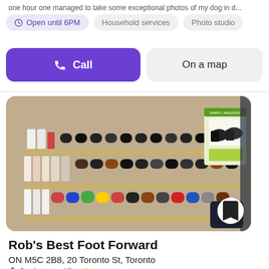one hour one managed to take some exceptional photos of my dog in d...
Open until 6PM
Household services
Photo studio
Call
On a map
[Figure (photo): Interior shelves of a store stocked with shoe care products, polishes, sprays, and a boot display advertisement on the right side.]
Rob's Best Foot Forward
ON M5C 2B8, 20 Toronto St, Toronto
2 minutes • King